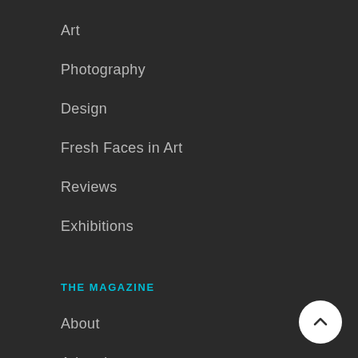Art
Photography
Design
Fresh Faces in Art
Reviews
Exhibitions
THE MAGAZINE
About
Advertise
Previous Issues
[Figure (illustration): White circular scroll-to-top button with upward chevron arrow in bottom-right corner]